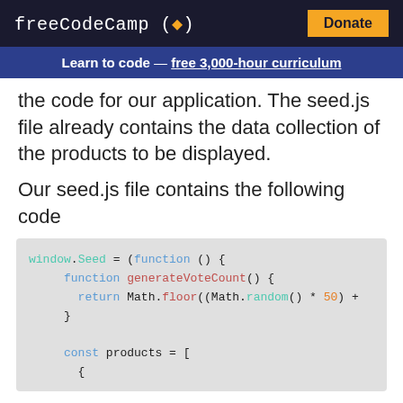freeCodeCamp(🔥)  Donate
Learn to code — free 3,000-hour curriculum
the code for our application. The seed.js file already contains the data collection of the products to be displayed.
Our seed.js file contains the following code
[Figure (screenshot): Code block showing JavaScript: window.Seed = (function () { function generateVoteCount() { return Math.floor((Math.random() * 50) + } const products = [ {]